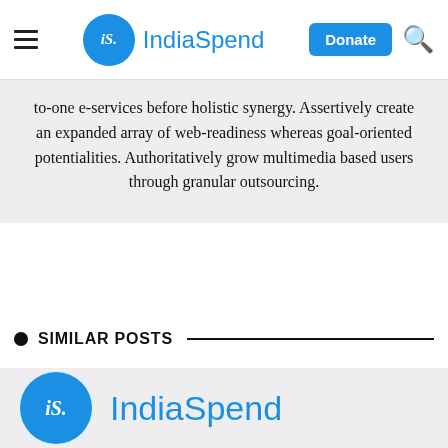iS. IndiaSpend | Donate
to-one e-services before holistic synergy. Assertively create an expanded array of web-readiness whereas goal-oriented potentialities. Authoritatively grow multimedia based users through granular outsourcing.
SIMILAR POSTS
[Figure (logo): IndiaSpend logo: blue circle with 'iS.' in white italic and 'IndiaSpend' in blue text]